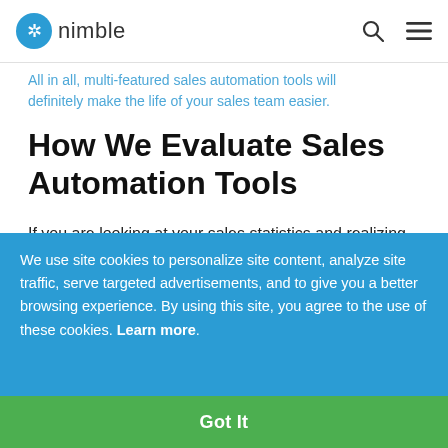nimble
All in all, multi-featured sales automation tools will definitely make the life of your sales team easier.
How We Evaluate Sales Automation Tools
If you are looking at your sales statistics and realizing that it is far from perfect, it is time to choose the right sales automation tools. In such a scenario,
all the necessary information will be at hand. As a result, you'll be able to determine your sales goals, development objectives, and other neat automation solutions can be used for every purpose. A lot depends on your
We use site cookies to personalize site content, analyze site traffic, serve targeted advertisements, and to give you a better browsing experience. By using this site, you agree to the use of these cookies. Learn more
Got It